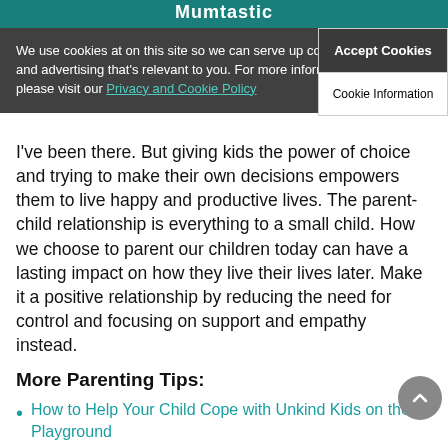Mumtastic
I've been there. But giving kids the power of choice and trying to make their own decisions empowers them to live happy and productive lives. The parent-child relationship is everything to a small child. How we choose to parent our children today can have a lasting impact on how they live their lives later. Make it a positive relationship by reducing the need for control and focusing on support and empathy instead.
More Parenting Tips:
How to Help Your Child Cope with Unkind Kids on the Playground
4 Reasons Why You Should Let Your Kids Play Rough
5 Secrets to Raising a Kid Who is Kind to Others